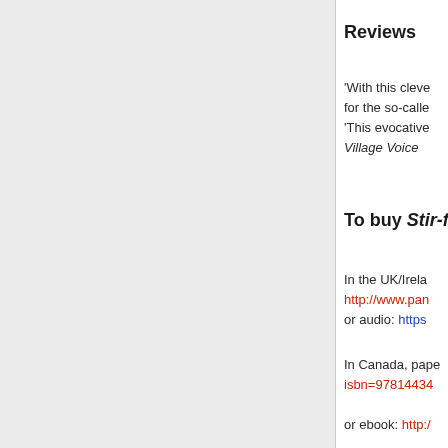Reviews
'With this cleve... for the so-called... 'This evocative... Village Voice
To buy Stir-fry
In the UK/Irela... http://www.pan... or audio: https...
In Canada, pape... isbn=97814434...
or ebook: http:/...
Translati...